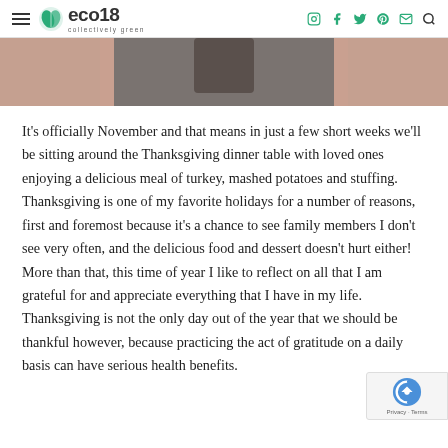eco18 — collectively green — navigation header with hamburger menu and social icons
[Figure (photo): Partial hero image strip showing a Thanksgiving/autumn themed photo with muted rose and grey tones]
It's officially November and that means in just a few short weeks we'll be sitting around the Thanksgiving dinner table with loved ones enjoying a delicious meal of turkey, mashed potatoes and stuffing. Thanksgiving is one of my favorite holidays for a number of reasons, first and foremost because it's a chance to see family members I don't see very often, and the delicious food and dessert doesn't hurt either! More than that, this time of year I like to reflect on all that I am grateful for and appreciate everything that I have in my life. Thanksgiving is not the only day out of the year that we should be thankful however, because practicing the act of gratitude on a daily basis can have serious health benefits.